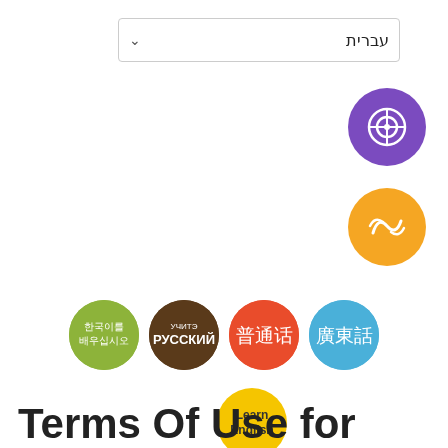[Figure (screenshot): Dropdown/select box showing Hebrew text 'עברית' with a chevron arrow on the left]
[Figure (illustration): Row of language learning circular buttons: Korean (olive green), Russian (dark brown), Mandarin (red/orange), Cantonese (blue), and a yellow 'Learn English' button below. Two icon circles at right: purple with target/globe icon, orange with wave/yin-yang icon.]
Terms Of Use for Chinese Content